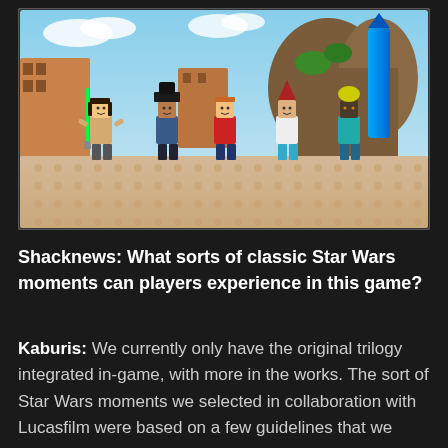[Figure (screenshot): A LEGO Star Wars video game screenshot showing five LEGO minifigures standing on a sandy, stud-covered surface. Characters include a female figure with a green lightsaber, a figure in a hat, a figure in a red top, a figure in a pointy red hat, and a teal-colored figure. The background features a colorful alien planet setting with buildings, cliffs, and a blue rocket/tower. The scene is bright and cartoonish.]
Shacknews: What sorts of classic Star Wars moments can players experience in this game?
Kaburis: We currently only have the original trilogy integrated in-game, with more in the works. The sort of Star Wars moments we selected in collaboration with Lucasfilm were based on a few guidelines that we